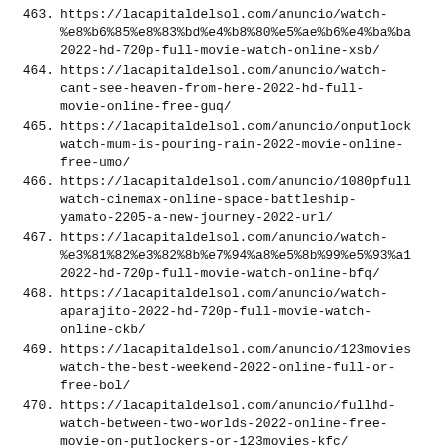463. https://lacapitaldelsol.com/anuncio/watch-%e8%b6%85%e8%83%bd%e4%b8%80%e5%ae%b6%e4%ba%ba2022-hd-720p-full-movie-watch-online-xsb/
464. https://lacapitaldelsol.com/anuncio/watch-cant-see-heaven-from-here-2022-hd-full-movie-online-free-guq/
465. https://lacapitaldelsol.com/anuncio/onputlockwatch-mum-is-pouring-rain-2022-movie-online-free-umo/
466. https://lacapitaldelsol.com/anuncio/1080pfullwatch-cinemax-online-space-battleship-yamato-2205-a-new-journey-2022-url/
467. https://lacapitaldelsol.com/anuncio/watch-%e3%81%82%e3%82%8b%e7%94%a8%e5%8b%99%e5%93%a12022-hd-720p-full-movie-watch-online-bfq/
468. https://lacapitaldelsol.com/anuncio/watch-aparajito-2022-hd-720p-full-movie-watch-online-ckb/
469. https://lacapitaldelsol.com/anuncio/123movieswatch-the-best-weekend-2022-online-full-or-free-bol/
470. https://lacapitaldelsol.com/anuncio/fullhd-watch-between-two-worlds-2022-online-free-movie-on-putlockers-or-123movies-kfc/
471. https://lacapitaldelsol.com/anuncio/watch-free-kakababur-protyaborton-2022-dvd4k-full-online-full-movieshared-tuw/
472. https://lacapitaldelsol.com/anuncio/watch-